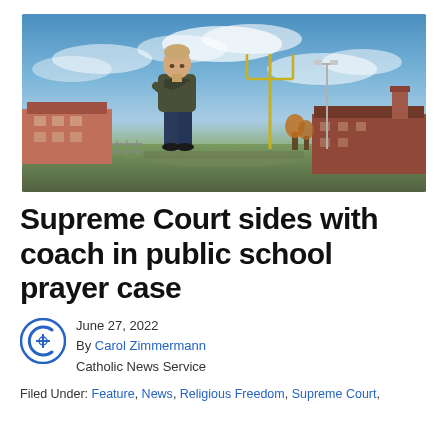[Figure (photo): A man standing with arms crossed on a football field, with goal posts visible in the background and school buildings on either side under a partly cloudy sky.]
Supreme Court sides with coach in public school prayer case
June 27, 2022
By Carol Zimmermann
Catholic News Service
Filed Under: Feature, News, Religious Freedom, Supreme Court,